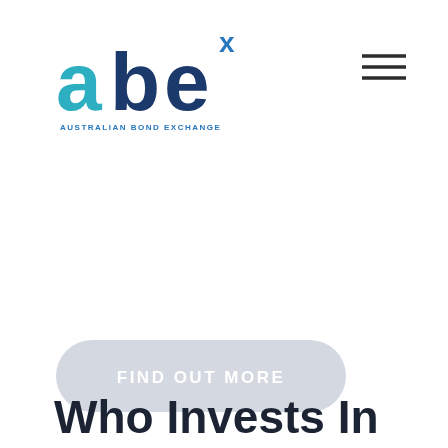[Figure (logo): ABEx Australian Bond Exchange logo — stylized lowercase 'abe' text in teal/blue with a superscript 'x' in blue, and 'AUSTRALIAN BOND EXCHANGE' tagline below in small caps]
[Figure (other): Hamburger menu icon — three horizontal dark lines stacked]
[Figure (other): Rounded pill-shaped button with light grey background and white text reading 'FIND OUT MORE']
Who Invests In